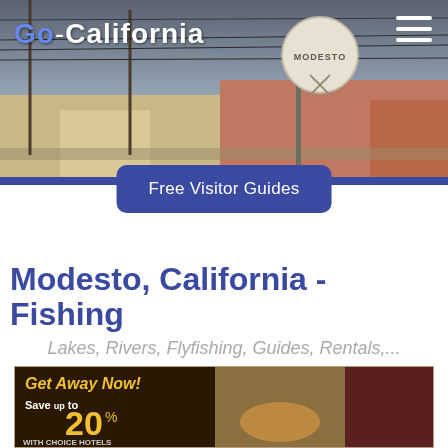[Figure (photo): Hero image of Modesto cityscape with water tower reading MODESTO, industrial buildings, power lines, overcast sky. Go-California website header with hamburger menu icon.]
Free Visitor Guides
Modesto, California - Fishing
Lakes, Rivers, Flyfishing, Guides, Rentals,...
[Figure (photo): Advertisement banner: Get Away Now! Save up to 20% with Choice Hotels. California branding with food and entertainment imagery.]